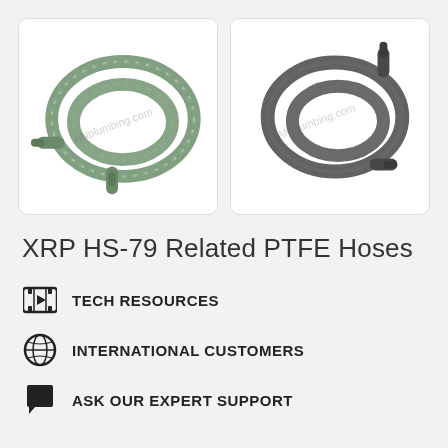[Figure (photo): Green braided PTFE hose coiled, with watermark 'ANplumbing.com']
[Figure (photo): Dark gray rubber/PTFE hose coiled, with watermark 'ANplumbing.com']
XRP HS-79 Related PTFE Hoses
TECH RESOURCES
INTERNATIONAL CUSTOMERS
ASK OUR EXPERT SUPPORT